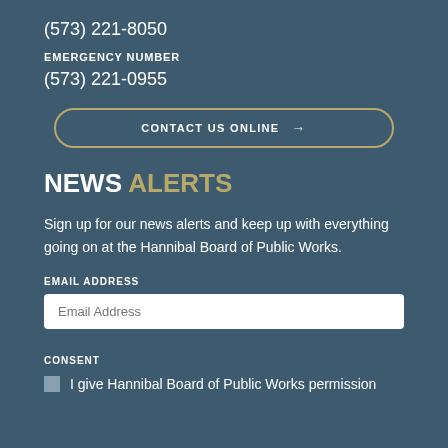(573) 221-8050
EMERGENCY NUMBER
(573) 221-0955
CONTACT US ONLINE →
NEWS ALERTS
Sign up for our news alerts and keep up with everything going on at the Hannibal Board of Public Works.
EMAIL ADDRESS
Email Address
CONSENT
I give Hannibal Board of Public Works permission